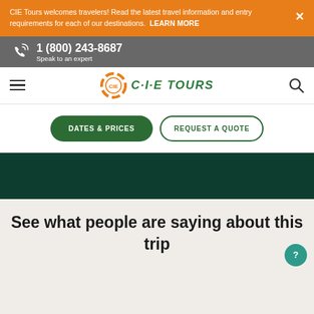CIE Tours welcomes travelers! Read the latest travel information and entry requirements for each of our destinations. LEARN MORE
1 (800) 243-8687 Speak to an expert
CIE TOURS
DATES & PRICES
REQUEST A QUOTE
[Figure (other): Dark green banner/image section]
See what people are saying about this trip